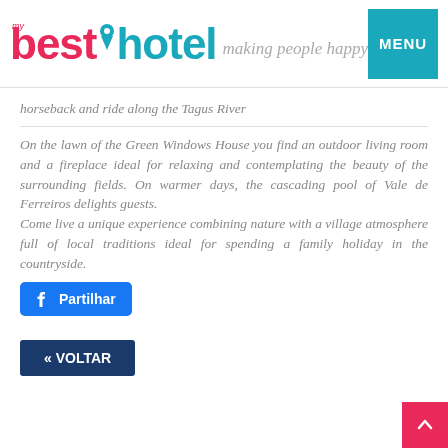[Figure (logo): My Best Hotel logo with pink 'best' and teal 'hotel' text, location pin icon, and 'making people happy' tagline in cursive]
horseback and ride along the Tagus River
On the lawn of the Green Windows House you find an outdoor living room and a fireplace ideal for relaxing and contemplating the beauty of the surrounding fields. On warmer days, the cascading pool of Vale de Ferreiros delights guests. Come live a unique experience combining nature with a village atmosphere full of local traditions ideal for spending a family holiday in the countryside.
[Figure (other): Facebook share button with 'Partilhar' text]
« VOLTAR